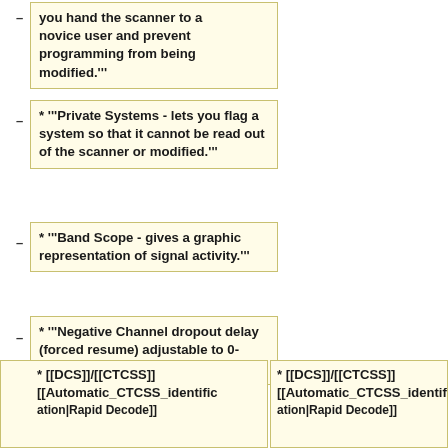you hand the scanner to a novice user and prevent programming from being modified.'''
* '''Private Systems - lets you flag a system so that it cannot be read out of the scanner or modified.'''
* '''Band Scope - gives a graphic representation of signal activity.'''
* '''Negative Channel dropout delay (forced resume) adjustable to 0-2,5,10,30, -2, -5, -10 seconds'''
* [[DCS]]/[[CTCSS]] [[Automatic_CTCSS_identification|Rapid Decode]]
* [[DCS]]/[[CTCSS]] [[Automatic_CTCSS_identification|Rapid Decode]]